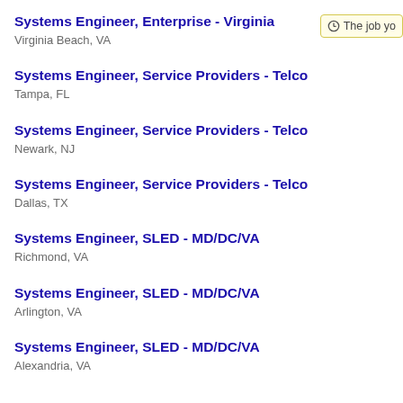Systems Engineer, Enterprise - Virginia
Virginia Beach, VA
[Figure (other): Clock icon with partial text 'The job yo']
Systems Engineer, Service Providers - Telco
Tampa, FL
Systems Engineer, Service Providers - Telco
Newark, NJ
Systems Engineer, Service Providers - Telco
Dallas, TX
Systems Engineer, SLED - MD/DC/VA
Richmond, VA
Systems Engineer, SLED - MD/DC/VA
Arlington, VA
Systems Engineer, SLED - MD/DC/VA
Alexandria, VA